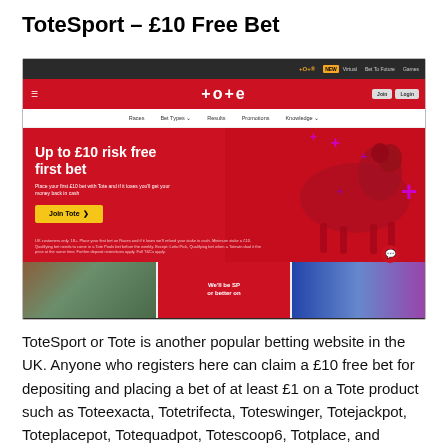ToteSport – £10 Free Bet
[Figure (screenshot): Screenshot of the ToteSport (Tote) website homepage showing the navigation bar, red header with Tote logo, and a hero banner reading 'Up to £10 risk free first bet' with a Join Tote button, plus three smaller images at the bottom strip.]
ToteSport or Tote is another popular betting website in the UK. Anyone who registers here can claim a £10 free bet for depositing and placing a bet of at least £1 on a Tote product such as Toteexacta, Totetrifecta, Toteswinger, Totejackpot, Toteplacepot, Totequadpot, Totescoop6, Totplace, and Totewin. If the bet is settled as a loss, the website will